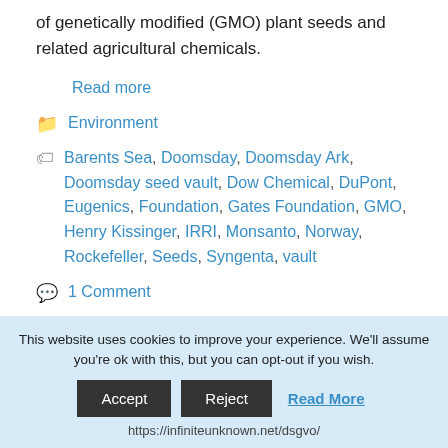of genetically modified (GMO) plant seeds and related agricultural chemicals.
Read more
Environment
Barents Sea, Doomsday, Doomsday Ark, Doomsday seed vault, Dow Chemical, DuPont, Eugenics, Foundation, Gates Foundation, GMO, Henry Kissinger, IRRI, Monsanto, Norway, Rockefeller, Seeds, Syngenta, vault
1 Comment
This website uses cookies to improve your experience. We'll assume you're ok with this, but you can opt-out if you wish.
Accept  Reject  Read More
https://infiniteunknown.net/dsgvo/